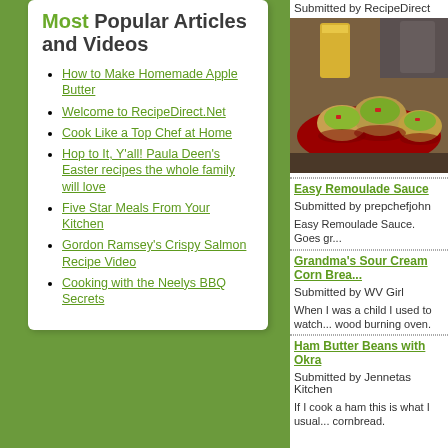Most Popular Articles and Videos
How to Make Homemade Apple Butter
Welcome to RecipeDirect.Net
Cook Like a Top Chef at Home
Hop to It, Y'all! Paula Deen's Easter recipes the whole family will love
Five Star Meals From Your Kitchen
Gordon Ramsey's Crispy Salmon Recipe Video
Cooking with the Neelys BBQ Secrets
Submitted by RecipeDirect
[Figure (photo): Food photo showing egg muffin cups with vegetables on a red plate, with glasses of orange juice in the background]
Easy Remoulade Sauce
Submitted by prepchefjohn
Easy Remoulade Sauce. Goes gr...
Grandma's Sour Cream Corn Brea...
Submitted by WV Girl
When I was a child I used to watch... wood burning oven.
Ham Butter Beans with Okra
Submitted by Jennetas Kitchen
If I cook a ham this is what I usual... cornbread.